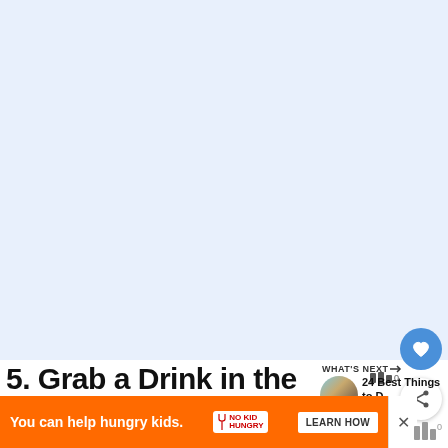[Figure (photo): Large image area, mostly white/light blue placeholder for a photo related to the Gaslamp Quarter]
5. Grab a Drink in the Gaslamp Quarter
WHAT'S NEXT → 24 Best Things to D...
You can help hungry kids. NO KID HUNGRY LEARN HOW